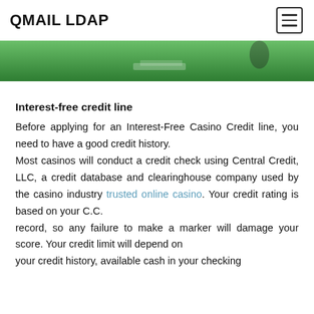QMAIL LDAP
[Figure (photo): A green casino table surface photographed from above, partially visible at the top of the page.]
Interest-free credit line
Before applying for an Interest-Free Casino Credit line, you need to have a good credit history. Most casinos will conduct a credit check using Central Credit, LLC, a credit database and clearinghouse company used by the casino industry trusted online casino. Your credit rating is based on your C.C. record, so any failure to make a marker will damage your score. Your credit limit will depend on your credit history, available cash in your checking